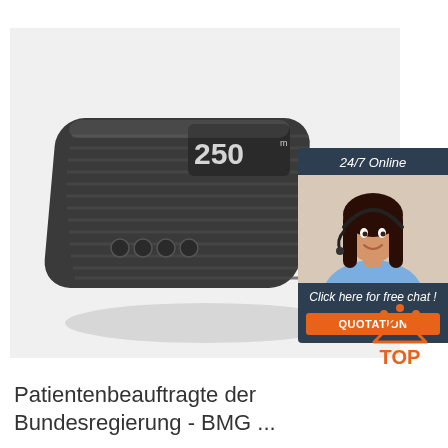[Figure (photo): Dark grey portable medical/electronic device with ribbed texture, small display showing '250', four circular buttons, viewed from above at an angle. Light grey background.]
[Figure (screenshot): Online chat widget banner with dark navy background. Header: '24/7 Online'. Photo of smiling woman with headset. Text: 'Click here for free chat!'. Orange button: 'QUOTATION'.]
[Figure (logo): TOP badge logo: orange triangle/house shape with orange dots forming arc above, text 'TOP' in orange below.]
Patientenbeauftragte der Bundesregierung - BMG ...